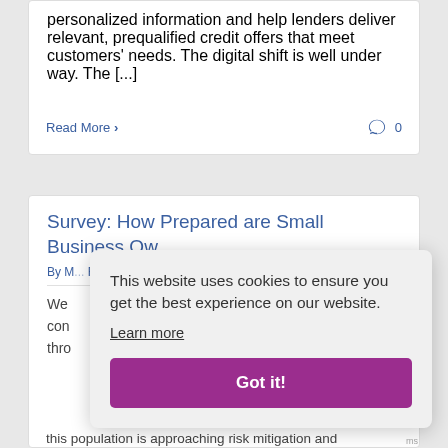personalized information and help lenders deliver relevant, prequalified credit offers that meet customers' needs. The digital shift is well under way. The [...]
Read More ›
0
Survey: How Prepared are Small Business Ow...
By M... Rese...
We con thro this population is approaching risk mitigation and
[Figure (screenshot): Cookie consent popup overlay on a finance blog page. Contains text 'This website uses cookies to ensure you get the best experience on our website.' with a 'Learn more' link and a purple 'Got it!' button.]